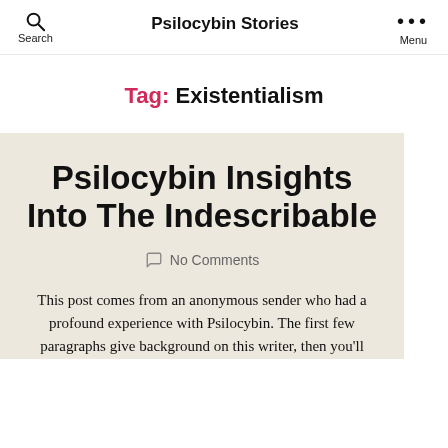Search  Psilocybin Stories  Menu
Tag: Existentialism
Psilocybin Insights Into The Indescribable
No Comments
This post comes from an anonymous sender who had a profound experience with Psilocybin. The first few paragraphs give background on this writer, then you'll